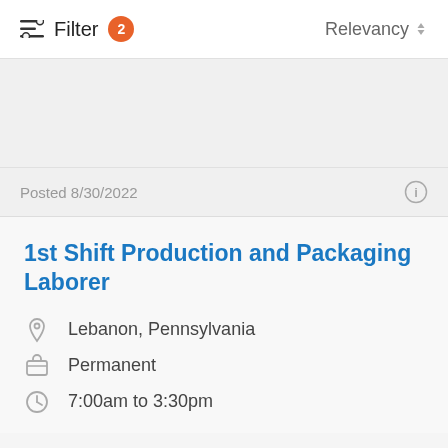Filter 2   Relevancy
Posted 8/30/2022
1st Shift Production and Packaging Laborer
Lebanon, Pennsylvania
Permanent
7:00am to 3:30pm